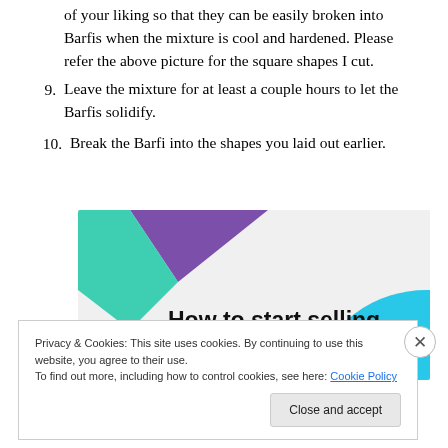of your liking so that they can be easily broken into Barfis when the mixture is cool and hardened. Please refer the above picture for the square shapes I cut.
9. Leave the mixture for at least a couple hours to let the Barfis solidify.
10. Break the Barfi into the shapes you laid out earlier.
[Figure (infographic): Advertisement banner reading 'How to start selling subscriptions online' with teal, purple, and blue geometric shapes on a light gray background.]
Privacy & Cookies: This site uses cookies. By continuing to use this website, you agree to their use.
To find out more, including how to control cookies, see here: Cookie Policy
Close and accept